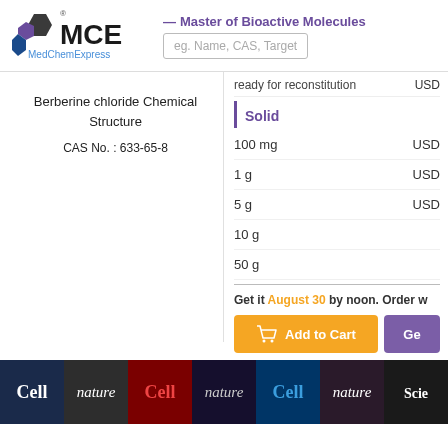[Figure (logo): MCE MedChemExpress logo with hexagonal molecule icon in black and purple]
— Master of Bioactive Molecules
eg. Name, CAS, Target
ready for reconstitution  USD
Solid
| Quantity | Price |
| --- | --- |
| 100 mg | USD |
| 1 g | USD |
| 5 g | USD |
| 10 g |  |
| 50 g |  |
Berberine chloride Chemical Structure
CAS No. : 633-65-8
Get it August 30 by noon. Order w
[Figure (screenshot): Journal cover strip showing Cell, nature, Cell, nature, Cell, nature, Science magazine covers]